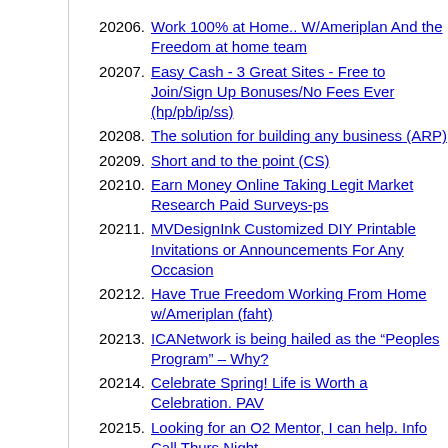20206. Work 100% at Home.. W/Ameriplan And the Freedom at home team
20207. Easy Cash - 3 Great Sites - Free to Join/Sign Up Bonuses/No Fees Ever (hp/pb/ip/ss)
20208. The solution for building any business (ARP)
20209. Short and to the point (CS)
20210. Earn Money Online Taking Legit Market Research Paid Surveys-ps
20211. MVDesignInk Customized DIY Printable Invitations or Announcements For Any Occasion
20212. Have True Freedom Working From Home w/Ameriplan (faht)
20213. ICANetwork is being hailed as the “Peoples Program” – Why?
20214. Celebrate Spring! Life is Worth a Celebration. PAV
20215. Looking for an O2 Mentor, I can help. Info Call Thurs Night
20216. Love Gourmet Candles But Don't Love Home Parties? (mb)
20217. Earn extra money every month free! M4M
20218. Watch 2 min Video All That You Need Is Internet Access. This Is Free For Everyone. gc
20219. Our 2 promos end soon (ap)
20220. Free to Join Health & Wellness Biz (TV)